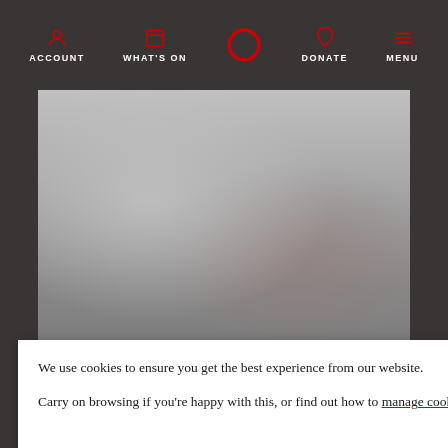ACCOUNT | WHAT'S ON | DONATE | MENU
[Figure (photo): Blurred grayscale photo of people, appears to be a moody atmospheric shot used as a hero image for the Refugee Week podcast episode]
SUCH STUFF
#SuchStuff s1 e2: Refugee Week
We use cookies to ensure you get the best experience from our website.

Carry on browsing if you're happy with this, or find out how to manage cookies.
ONS
...ity's history, we
Please donate to
's Globe.